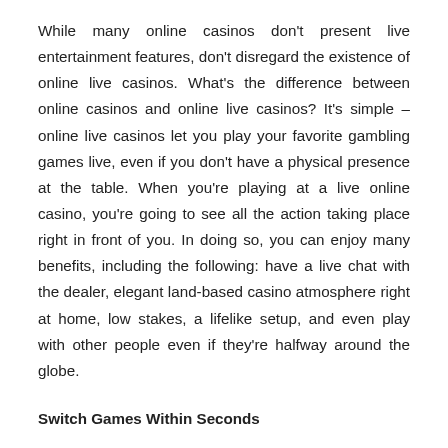While many online casinos don't present live entertainment features, don't disregard the existence of online live casinos. What's the difference between online casinos and online live casinos? It's simple – online live casinos let you play your favorite gambling games live, even if you don't have a physical presence at the table. When you're playing at a live online casino, you're going to see all the action taking place right in front of you. In doing so, you can enjoy many benefits, including the following: have a live chat with the dealer, elegant land-based casino atmosphere right at home, low stakes, a lifelike setup, and even play with other people even if they're halfway around the globe.
Switch Games Within Seconds
Brick-and-mortar casinos will layout their games and tables